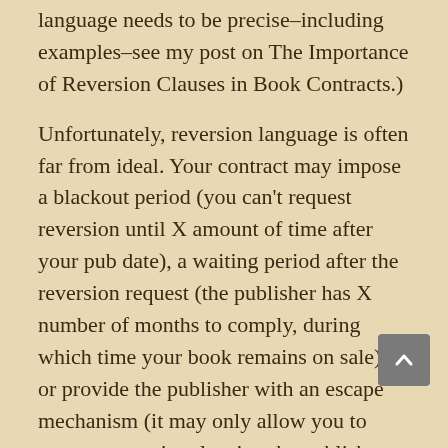language needs to be precise–including examples–see my post on The Importance of Reversion Clauses in Book Contracts.)
Unfortunately, reversion language is often far from ideal. Your contract may impose a blackout period (you can't request reversion until X amount of time after your pub date), a waiting period after the reversion request (the publisher has X number of months to comply, during which time your book remains on sale), or provide the publisher with an escape mechanism (it may only allow you to request reversion, leaving the publisher the latitude to refuse, or may make your request moot if the publisher issues or licenses a new edition within 6 months of your request).
Worse, your contract may not include objective standards for termination, leaving the decision